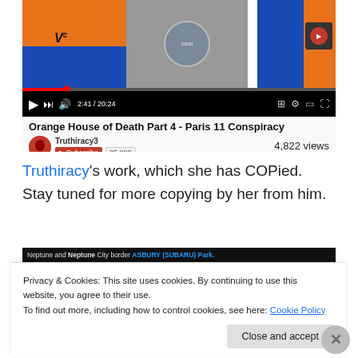[Figure (screenshot): YouTube video embed screenshot showing 'Orange House of Death Part 4 - Paris 11 Conspiracy' by Truthiracy3, with 4,822 views and a Subscribe button showing 25,000 subscribers. Video shows flags and symbols. Playback at 2:41 / 20:24.]
Truthiracy's work, which she has COPied. Stay tuned for more copying by her from him.
[Figure (screenshot): Screenshot of a video showing 'Neptune and Neptune City border ASBURY (SUBARU) Park.' with cookie figures visible.]
Privacy & Cookies: This site uses cookies. By continuing to use this website, you agree to their use.
To find out more, including how to control cookies, see here: Cookie Policy
Close and accept